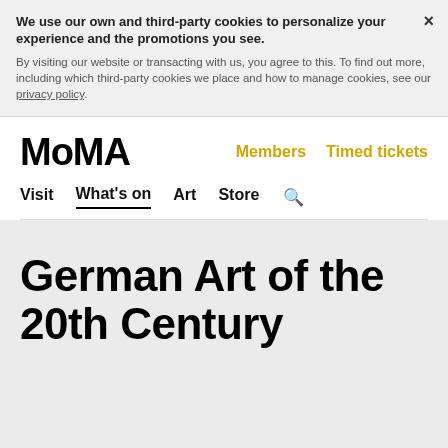We use our own and third-party cookies to personalize your experience and the promotions you see. By visiting our website or transacting with us, you agree to this. To find out more, including which third-party cookies we place and how to manage cookies, see our privacy policy.
MoMA  Members  Timed tickets  Visit  What's on  Art  Store
German Art of the 20th Century
Oct 2–Dec 1, 1957